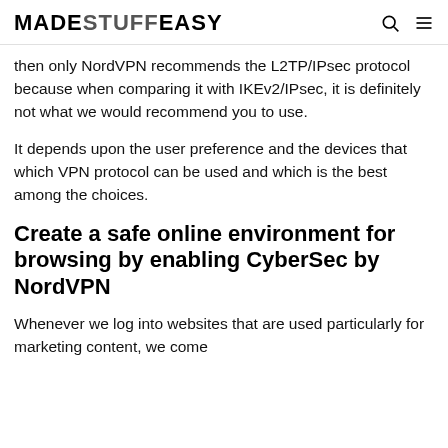MADESTUFFEASY
then only NordVPN recommends the L2TP/IPsec protocol because when comparing it with IKEv2/IPsec, it is definitely not what we would recommend you to use.
It depends upon the user preference and the devices that which VPN protocol can be used and which is the best among the choices.
Create a safe online environment for browsing by enabling CyberSec by NordVPN
Whenever we log into websites that are used particularly for marketing content, we come